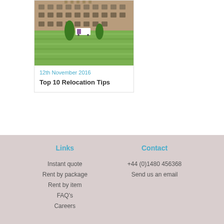[Figure (photo): Photo of a large historic stone building (manor or college) with manicured lawns in front, a removal van visible in the driveway, taken on a sunny day.]
12th November 2016
Top 10 Relocation Tips
Links
Contact
Instant quote
Rent by package
Rent by item
FAQ's
Careers
+44 (0)1480 456368
Send us an email